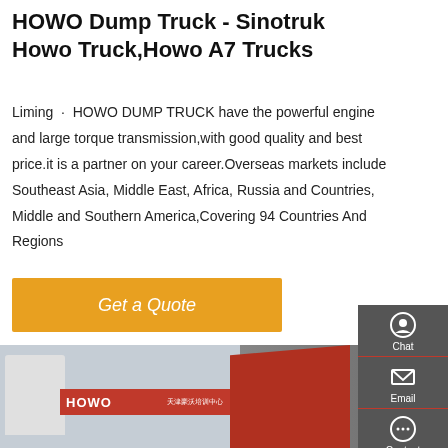HOWO Dump Truck - Sinotruk Howo Truck,Howo A7 Trucks
Liming · HOWO DUMP TRUCK have the powerful engine and large torque transmission,with good quality and best price.it is a partner on your career.Overseas markets include Southeast Asia, Middle East, Africa, Russia and Countries, Middle and Southern America,Covering 94 Countries And Regions
[Figure (other): Orange 'Get a Quote' button]
[Figure (photo): Photo of HOWO trucks including white trucks in a lot, a red HOWO branded building/dealership sign, and a red Sinotruk dump truck cab, with yellow dump truck body on the right]
[Figure (other): Side navigation bar with Chat, Email, Contact, and Top icons on dark gray background]